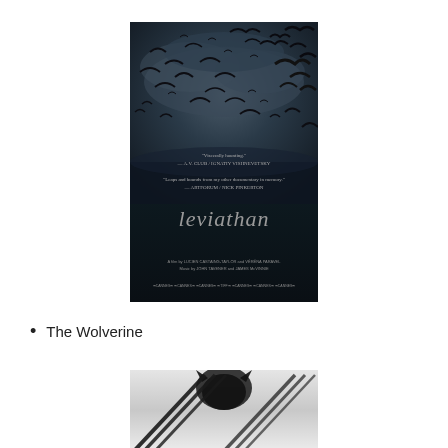[Figure (photo): Movie poster for 'Leviathan' - dark atmospheric poster featuring a flock of birds/seagulls against a stormy sky over dark water, with gothic-style title text 'leviathan' and film credits at the bottom]
The Wolverine
[Figure (photo): Movie poster for 'The Wolverine' - black and white image showing Wolverine's face partially visible above dramatic diagonal claw marks scratched across the image]